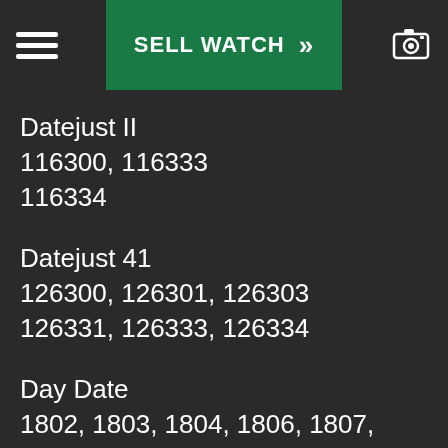SELL WATCH
Datejust II
116300, 116333
116334
Datejust 41
126300, 126301, 126303
126331, 126333, 126334
Day Date
1802, 1803, 1804, 1806, 1807, 1808, 1809, 1810, 1811, 1812, 1813, 1814, 1815, 1831, 6511, 6611, 18026, 18028, 18029, 18038,